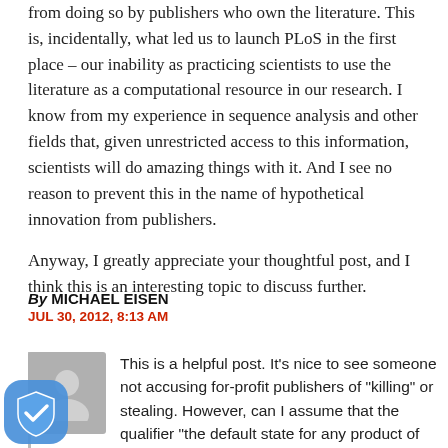from doing so by publishers who own the literature. This is, incidentally, what led us to launch PLoS in the first place – our inability as practicing scientists to use the literature as a computational resource in our research. I know from my experience in sequence analysis and other fields that, given unrestricted access to this information, scientists will do amazing things with it. And I see no reason to prevent this in the name of hypothetical innovation from publishers.
Anyway, I greatly appreciate your thoughtful post, and I think this is an interesting topic to discuss further.
By MICHAEL EISEN
JUL 30, 2012, 8:13 AM
This is a helpful post. It’s nice to see someone not accusing for-profit publishers of “killing” or stealing. However, can I assume that the qualifier “the default state for any product of publicly funded [research],” is a major and decisive one? By this